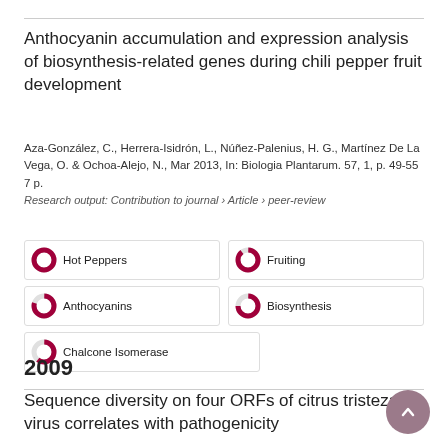Anthocyanin accumulation and expression analysis of biosynthesis-related genes during chili pepper fruit development
Aza-González, C., Herrera-Isidrón, L., Núñez-Palenius, H. G., Martínez De La Vega, O. & Ochoa-Alejo, N., Mar 2013, In: Biologia Plantarum. 57, 1, p. 49-55 7 p.
Research output: Contribution to journal › Article › peer-review
Hot Peppers
Fruiting
Anthocyanins
Biosynthesis
Chalcone Isomerase
2009
Sequence diversity on four ORFs of citrus tristeza virus correlates with pathogenicity